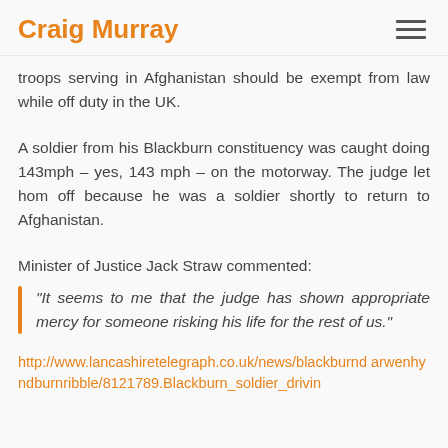Craig Murray
troops serving in Afghanistan should be exempt from law while off duty in the UK.
A soldier from his Blackburn constituency was caught doing 143mph – yes, 143 mph – on the motorway. The judge let hom off because he was a soldier shortly to return to Afghanistan.
Minister of Justice Jack Straw commented:
“It seems to me that the judge has shown appropriate mercy for someone risking his life for the rest of us.”
http://www.lancashiretelegraph.co.uk/news/blackburnd arwenhyndburnribble/8121789.Blackburn_soldier_drivin